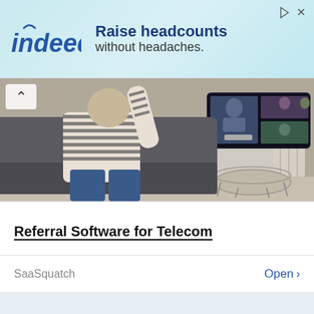[Figure (screenshot): Indeed advertisement banner with light blue/teal gradient background. Indeed logo on left (italic bold blue text with arc above 'i'), and bold text 'Raise headcounts without headaches.' on right. Play and close icons in top right corner.]
[Figure (photo): Person in striped long-sleeve shirt sitting on couch with arm raised, facing a large TV screen showing a video call with multiple participants. A round coffee table is visible to the right. Living room setting.]
Referral Software for Telecom
SaaSquatch
Open >